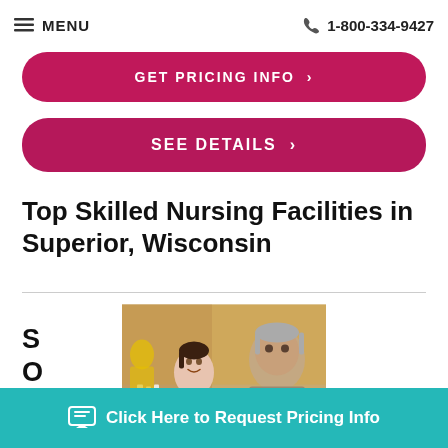MENU  1-800-334-9427
GET PRICING INFO ›
SEE DETAILS ›
Top Skilled Nursing Facilities in Superior, Wisconsin
[Figure (photo): A female caregiver in pink scrubs smiling at an elderly man while playing chess, with other residents in background]
S O
Click Here to Request Pricing Info